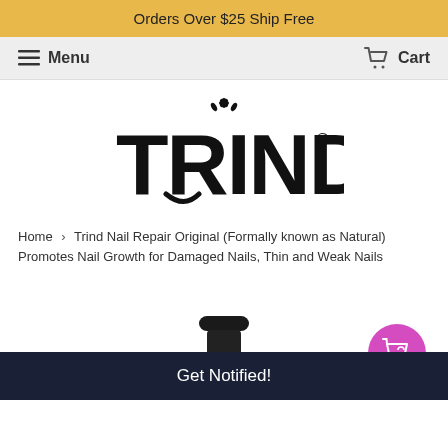Orders Over $25 Ship Free
Menu   Cart
[Figure (logo): TRIND brand logo in large bold black lettering with a decorative floral/crown element above the letter I, and a registered trademark symbol]
Home › Trind Nail Repair Original (Formally known as Natural) Promotes Nail Growth for Damaged Nails, Thin and Weak Nails
[Figure (photo): Bottom portion of a dark/black nail polish or nail repair bottle cap visible at the bottom center of the page]
[Figure (other): Magenta/pink circular shopping cart icon button in lower right]
Get Notified!